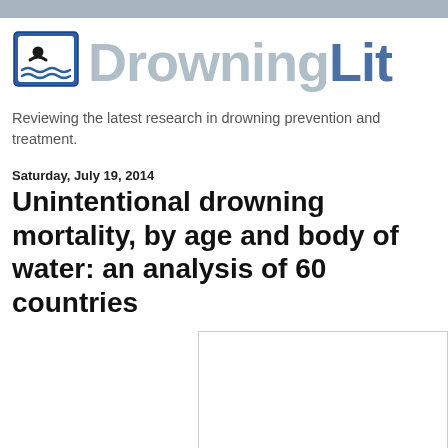[Figure (logo): DrowningLit logo with book and waves icon and stylized text]
Reviewing the latest research in drowning prevention and treatment.
Saturday, July 19, 2014
Unintentional drowning mortality, by age and body of water: an analysis of 60 countries
[Figure (other): White image/figure placeholder box]